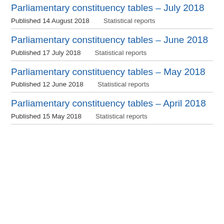Parliamentary constituency tables – July 2018
Published 14 August 2018    Statistical reports
Parliamentary constituency tables – June 2018
Published 17 July 2018    Statistical reports
Parliamentary constituency tables – May 2018
Published 12 June 2018    Statistical reports
Parliamentary constituency tables – April 2018
Published 15 May 2018    Statistical reports